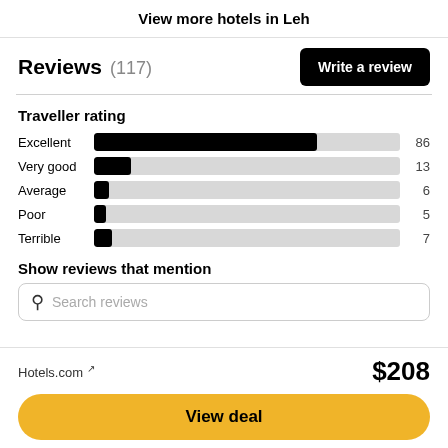View more hotels in Leh
Reviews (117)
[Figure (bar-chart): Traveller rating]
Show reviews that mention
Search reviews
Hotels.com ↗
$208
View deal